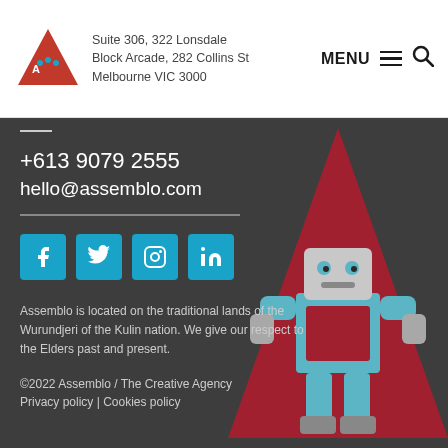Suite 306, 322 Lonsdale Block Arcade, 282 Collins St Melbourne VIC 3000
+613 9079 2555
hello@assemblo.com
[Figure (infographic): Social media icons: Facebook, Twitter, Instagram, LinkedIn]
Assemblo is located on the traditional lands of the Wurundjeri of the Kulin nation. We give our respect to the Elders past and present.
©2022 Assemblo / The Creative Agency
Privacy policy | Cookies policy
[Figure (illustration): Assemblo robot mascot illustration with red triangle background]